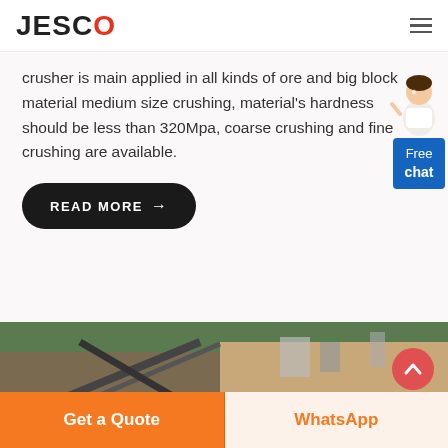JESCO
crusher is main applied in all kinds of ore and big block material medium size crushing, material's hardness should be less than 320Mpa, coarse crushing and fine crushing are available.
READ MORE →
[Figure (illustration): Free chat widget with a female customer service representative and a blue chat bubble saying 'Free chat']
[Figure (photo): Outdoor mining/crushing site with conveyor belts and equipment against a hillside backdrop]
Get a Quote
WhatsApp